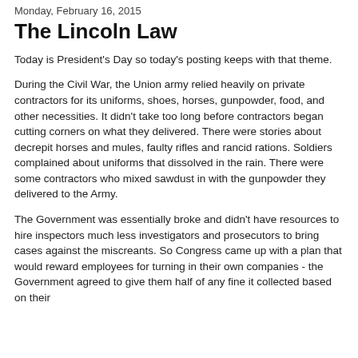Monday, February 16, 2015
The Lincoln Law
Today is President's Day so today's posting keeps with that theme.
During the Civil War, the Union army relied heavily on private contractors for its uniforms, shoes, horses, gunpowder, food, and other necessities. It didn't take too long before contractors began cutting corners on what they delivered. There were stories about decrepit horses and mules, faulty rifles and rancid rations. Soldiers complained about uniforms that dissolved in the rain. There were some contractors who mixed sawdust in with the gunpowder they delivered to the Army.
The Government was essentially broke and didn't have resources to hire inspectors much less investigators and prosecutors to bring cases against the miscreants. So Congress came up with a plan that would reward employees for turning in their own companies - the Government agreed to give them half of any fine it collected based on their